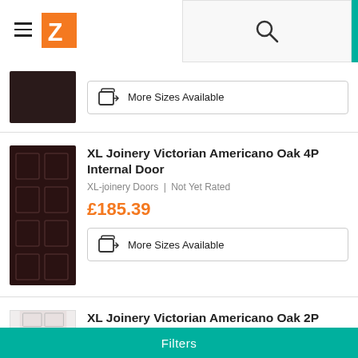[Figure (screenshot): E-commerce website header with hamburger menu, orange Z logo, search overlay, user icon, and teal cart area with '0' badge]
[Figure (photo): Partial dark wood panel door product image at top of list]
More Sizes Available
[Figure (photo): XL Joinery Victorian Americano Oak 4P Internal Door — dark 4-panel door product image]
XL Joinery Victorian Americano Oak 4P Internal Door
XL-joinery Doors | Not Yet Rated
£185.39
More Sizes Available
[Figure (photo): Partial XL Joinery product image at bottom, partially visible]
XL Joinery Victorian Americano Oak 2P Internal Door
Filters